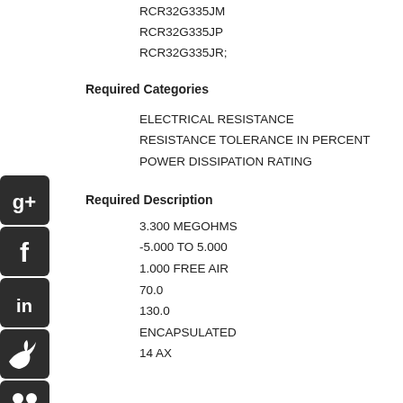RCR32G335JM
RCR32G335JP
RCR32G335JR;
Required Categories
ELECTRICAL RESISTANCE
RESISTANCE TOLERANCE IN PERCENT
POWER DISSIPATION RATING
Required Description
3.300 MEGOHMS
-5.000 TO 5.000
1.000 FREE AIR
70.0
130.0
ENCAPSULATED
14 AX